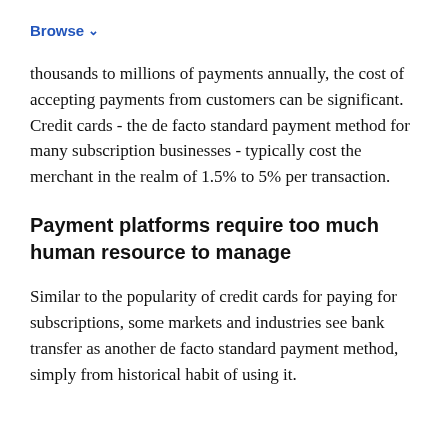Browse ▾
thousands to millions of payments annually, the cost of accepting payments from customers can be significant. Credit cards - the de facto standard payment method for many subscription businesses - typically cost the merchant in the realm of 1.5% to 5% per transaction.
Payment platforms require too much human resource to manage
Similar to the popularity of credit cards for paying for subscriptions, some markets and industries see bank transfer as another de facto standard payment method, simply from historical habit of using it.